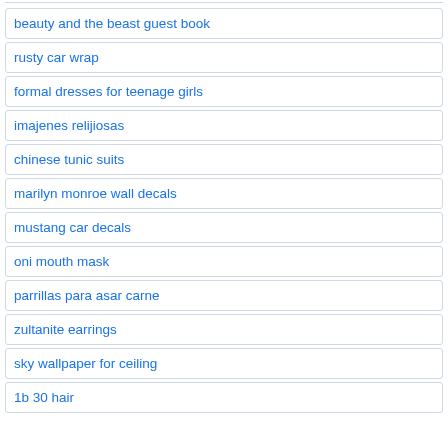beauty and the beast guest book
rusty car wrap
formal dresses for teenage girls
imajenes relijiosas
chinese tunic suits
marilyn monroe wall decals
mustang car decals
oni mouth mask
parrillas para asar carne
zultanite earrings
sky wallpaper for ceiling
1b 30 hair